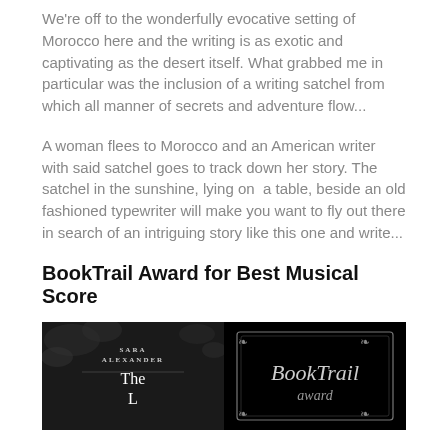We're off to the wonderfully evocative setting of Morocco here and the writing is as exotic and captivating as the desert itself. What grabbed me in particular was the inclusion of a writing satchel from which all manner of secrets and adventure flow...
A woman flees to Morocco and an American writer with said satchel goes to track down her story. The satchel in the sunshine, lying on  a table, beside an old fashioned typewriter will make you want to fly out there in search of an intriguing story like this one and write...
BookTrail Award for Best Musical Score
[Figure (illustration): Book cover of 'The ...' by Sara Alexander alongside a BookTrail award badge on black background]